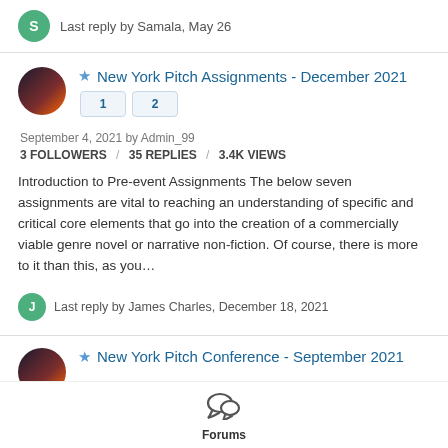Last reply by Samala, May 26
New York Pitch Assignments - December 2021
September 4, 2021 by Admin_99
3 FOLLOWERS / 35 REPLIES / 3.4K VIEWS
Introduction to Pre-event Assignments The below seven assignments are vital to reaching an understanding of specific and critical core elements that go into the creation of a commercially viable genre novel or narrative non-fiction. Of course, there is more to it than this, as you…
Last reply by James Charles, December 18, 2021
New York Pitch Conference - September 2021
Forums